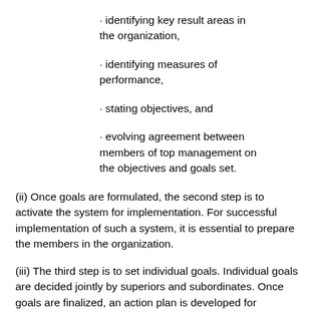· identifying key result areas in the organization,
· identifying measures of performance,
· stating objectives, and
· evolving agreement between members of top management on the objectives and goals set.
(ii) Once goals are formulated, the second step is to activate the system for implementation. For successful implementation of such a system, it is essential to prepare the members in the organization.
(iii) The third step is to set individual goals. Individual goals are decided jointly by superiors and subordinates. Once goals are finalized, an action plan is developed for implementation.
(iv) The fourth step involves: